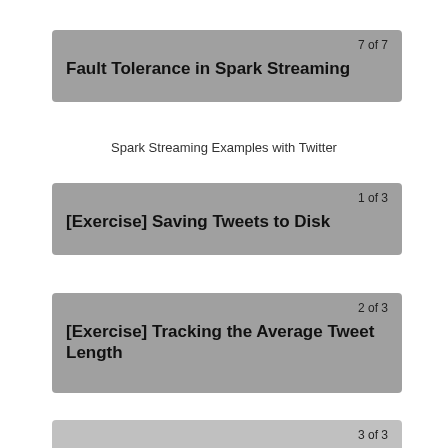Fault Tolerance in Spark Streaming
Spark Streaming Examples with Twitter
[Exercise] Saving Tweets to Disk
[Exercise] Tracking the Average Tweet Length
[Exercise] Tracking the Most Popular